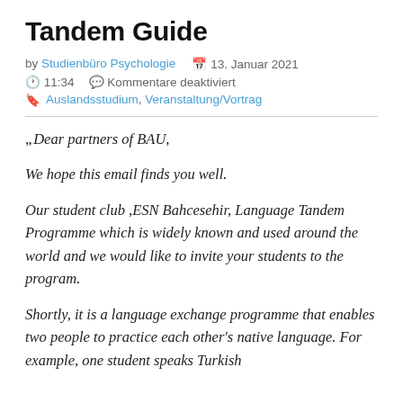Tandem Guide
by Studienbüro Psychologie  🗓 13. Januar 2021
🕐 11:34  💬 Kommentare deaktiviert
🔖 Auslandsstudium, Veranstaltung/Vortrag
„Dear partners of BAU,

We hope this email finds you well.

Our student club ,ESN Bahcesehir, Language Tandem Programme which is widely known and used around the world and we would like to invite your students to the program.

Shortly, it is a language exchange programme that enables two people to practice each other's native language. For example, one student speaks Turkish